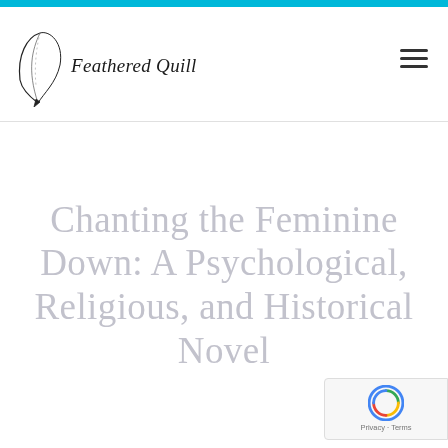Feathered Quill
Chanting the Feminine Down: A Psychological, Religious, and Historical Novel